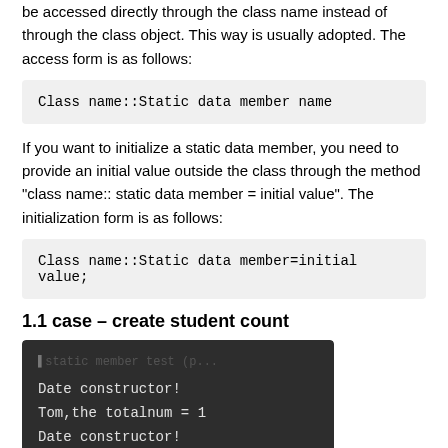be accessed directly through the class name instead of through the class object. This way is usually adopted. The access form is as follows:
Class name::Static data member name
If you want to initialize a static data member, you need to provide an initial value outside the class through the method "class name:: static data member = initial value". The initialization form is as follows:
Class name::Static data member=initial value;
1.1 case – create student count
[Figure (screenshot): Dark terminal/console output showing: Date constructor!, Tom,the totalnum = 1, Date constructor!, Paul, the totalnum = 2, destructor,totalnum = 1]